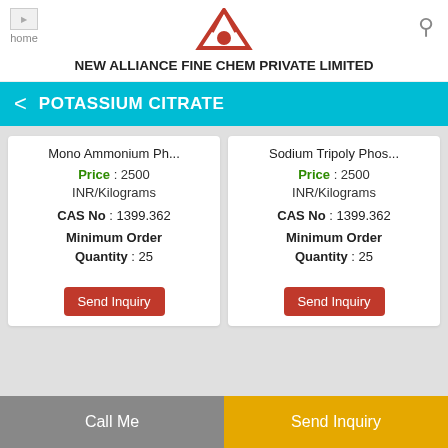[Figure (logo): New Alliance Fine Chem Private Limited logo with triangle and red dot]
NEW ALLIANCE FINE CHEM PRIVATE LIMITED
POTASSIUM CITRATE
|  |  |
| --- | --- |
| Mono Ammonium Ph... | Sodium Tripoly Phos... |
| Price : 2500 INR/Kilograms | Price : 2500 INR/Kilograms |
| CAS No : 1399.362 | CAS No : 1399.362 |
| Minimum Order Quantity : 25 | Minimum Order Quantity : 25 |
| Send Inquiry | Send Inquiry |
Call Me | Send Inquiry